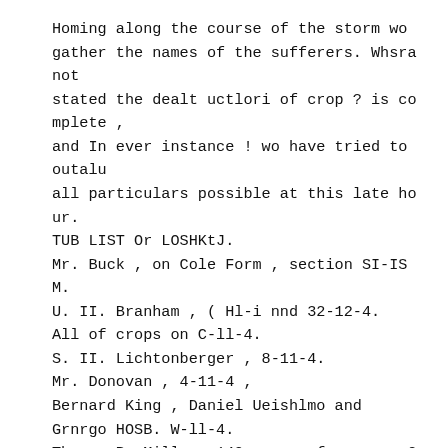Homing along the course of the storm wo gather the names of the sufferers. Whsra not
stated the dealt uctlori of crop ? is co mplete ,
and In ever instance ! wo have tried to outalu
all particulars possible at this late ho ur.
TUB LIST Or LOSHKtJ.
Mr. Buck , on Cole Form , section SI-IS M.
U. II. Branham , ( Hl-i nnd 32-12-4.
All of crops on C-ll-4.
S. II. Lichtonberger , 8-11-4.
Mr. Donovan , 4-11-4 ,
Bernard King , Daniel Ueishlmo and Grnrgo HOSB. W-ll-4.
Thomna P. Miller. 140 acres of crops , C